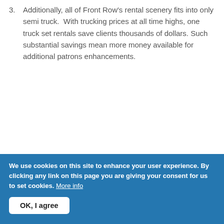3. Additionally, all of Front Row's rental scenery fits into only semi truck.  With trucking prices at all time highs, one truck set rentals save clients thousands of dollars. Such substantial savings mean more money available for additional patrons enhancements.
LOGIN TO FLAG AS INAPPROPRIATE
SHARE
We use cookies on this site to enhance your user experience. By clicking any link on this page you are giving your consent for us to set cookies. More info
OK, I agree